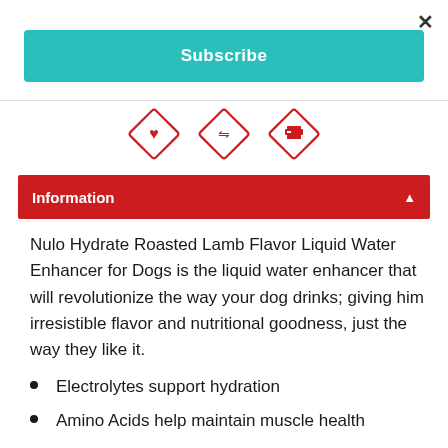[Figure (other): Close button (×) in top right corner]
[Figure (other): Teal Subscribe button bar]
[Figure (other): Three red diamond icons: heart, shuffle, printer]
Information
Nulo Hydrate Roasted Lamb Flavor Liquid Water Enhancer for Dogs is the liquid water enhancer that will revolutionize the way your dog drinks; giving him irresistible flavor and nutritional goodness, just the way they like it.
Electrolytes support hydration
Amino Acids help maintain muscle health
B Vitamins support healthy energy